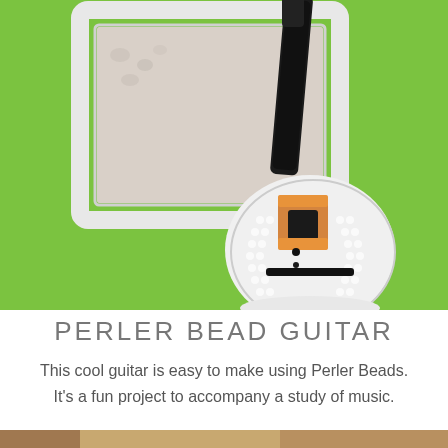[Figure (photo): A perler bead guitar craft made from white, black, and orange beads arranged in a guitar shape, displayed on a bright green surface next to a white decorative frame.]
PERLER BEAD GUITAR
This cool guitar is easy to make using Perler Beads. It's a fun project to accompany a study of music.
[Figure (photo): Partial bottom photo strip showing another craft or scene.]